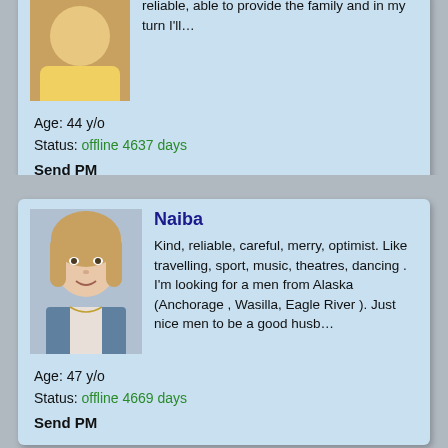[Figure (photo): Partial profile card at top of page, cropped. Shows a photo of a person and text: reliable, able to provide the family and in my turn I'll...]
reliable, able to provide the family and in my turn I'll…
Age: 44 y/o
Status: offline 4637 days
Send PM
[Figure (photo): Profile photo of Naiba, a young woman with curly hair, wearing a denim jacket]
Naiba
Kind, reliable, careful, merry, optimist. Like travelling, sport, music, theatres, dancing . I'm looking for a men from Alaska (Anchorage , Wasilla, Eagle River ). Just nice men to be a good husb…
Age: 47 y/o
Status: offline 4669 days
Send PM